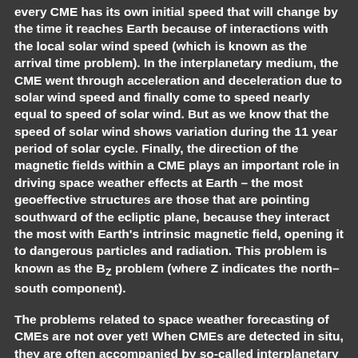every CME has its own initial speed that will change by the time it reaches Earth because of interactions with the local solar wind speed (which is known as the arrival time problem). In the interplanetary medium, the CME went through acceleration and deceleration due to solar wind speed and finally come to speed nearly equal to speed of solar wind. But as we know that the speed of solar wind shows variation during the 11 year period of solar cycle. Finally, the direction of the magnetic fields within a CME plays an important role in driving space weather effects at Earth – the most geoeffective structures are those that are pointing southward of the ecliptic plane, because they interact the most with Earth's intrinsic magnetic field, opening it to dangerous particles and radiation. This problem is known as the Bz problem (where Z indicates the north–south component).
The problems related to space weather forecasting of CMEs are not over yet! When CMEs are detected in situ, they are often accompanied by so-called interplanetary shocks ahead of them. The region of shocked and compressed solar wind that lies between a shock and an